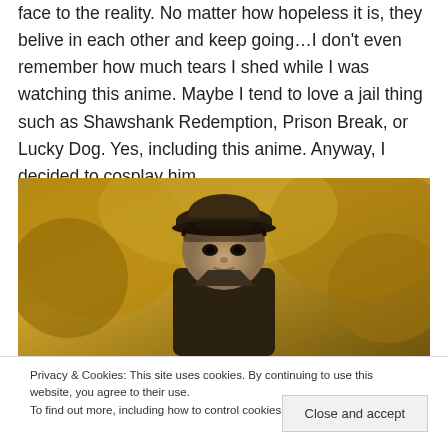face to the reality. No matter how hopeless it is, they belive in each other and keep going…I don't even remember how much tears I shed while I was watching this anime. Maybe I tend to love a jail thing such as Shawshank Redemption, Prison Break, or Lucky Dog. Yes, including this anime. Anyway, I decided to cosplay him.
[Figure (photo): Anime screenshot showing a dark-haired male character wearing a dark cap, with golden/yellow foliage in the background.]
Privacy & Cookies: This site uses cookies. By continuing to use this website, you agree to their use.
To find out more, including how to control cookies, see here: Cookie Policy